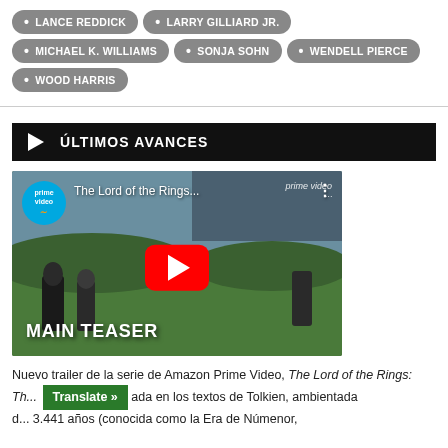• LANCE REDDICK
• LARRY GILLIARD JR.
• MICHAEL K. WILLIAMS
• SONJA SOHN
• WENDELL PIERCE
• WOOD HARRIS
ÚLTIMOS AVANCES
[Figure (screenshot): YouTube video thumbnail for 'The Lord of the Rings...' from Prime Video, showing hobbits walking in a green field. Red YouTube play button in center. Text overlay reads 'MAIN TEASER'. Prime Video logo and badge visible.]
Nuevo trailer de la serie de Amazon Prime Video, The Lord of the Rings: Th... ada en los textos de Tolkien, ambientada d... 3.441 años (conocida como la Era de Númenor,